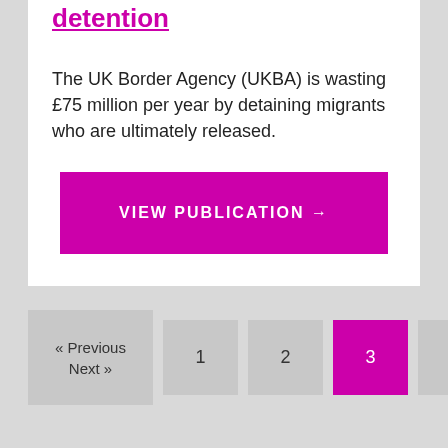detention
The UK Border Agency (UKBA) is wasting £75 million per year by detaining migrants who are ultimately released.
VIEW PUBLICATION →
« Previous
Next »
1
2
3
4